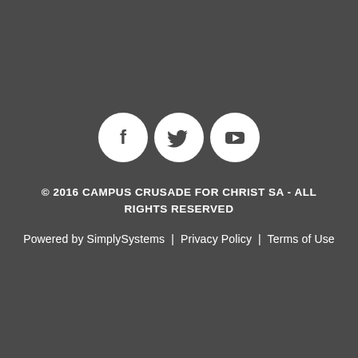[Figure (illustration): Three white circular social media icon buttons: Facebook (f), Twitter (bird), YouTube (play button), arranged horizontally]
© 2016 CAMPUS CRUSADE FOR CHRIST SA - ALL RIGHTS RESERVED
Powered by SimplySystems | Privacy Policy | Terms of Use